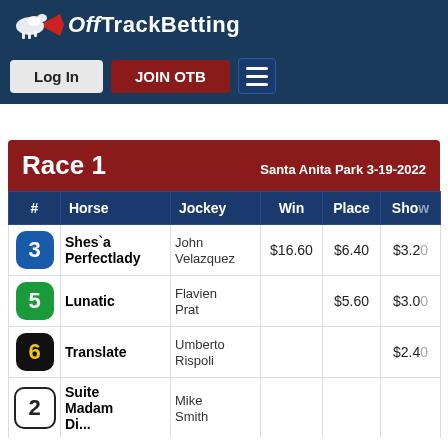[Figure (logo): OffTrackBetting logo with horse graphic and text]
Log In | JOIN OTB | Menu
Race 1  Santa Anita Park 3-19-2022
| # | Horse | Jockey | Win | Place | Show |
| --- | --- | --- | --- | --- | --- |
| 3 | Shes`a Perfectlady | John Velazquez | $16.60 | $6.40 | $3.20 |
| 5 | Lunatic | Flavien Prat |  | $5.60 | $3.00 |
| 6 | Translate | Umberto Rispoli |  |  | $2.40 |
| 2 | Suite Madam Di... | Mike Smith |  |  |  |